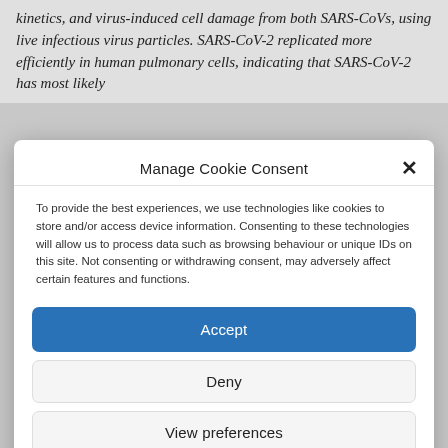kinetics, and virus-induced cell damage from both SARS-CoVs, using live infectious virus particles. SARS-CoV-2 replicated more efficiently in human pulmonary cells, indicating that SARS-CoV-2 has most likely
Manage Cookie Consent
To provide the best experiences, we use technologies like cookies to store and/or access device information. Consenting to these technologies will allow us to process data such as browsing behaviour or unique IDs on this site. Not consenting or withdrawing consent, may adversely affect certain features and functions.
Accept
Deny
View preferences
Cookie Policy  Privacy Policy